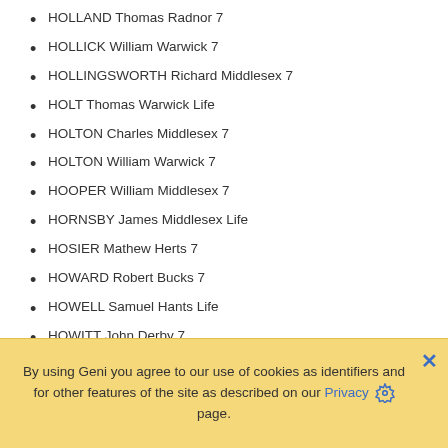HOLLAND Thomas Radnor 7
HOLLICK William Warwick 7
HOLLINGSWORTH Richard Middlesex 7
HOLT Thomas Warwick Life
HOLTON Charles Middlesex 7
HOLTON William Warwick 7
HOOPER William Middlesex 7
HORNSBY James Middlesex Life
HOSIER Mathew Herts 7
HOWARD Robert Bucks 7
HOWELL Samuel Hants Life
HOWITT John Derby 7
HUFTON Paul Notts 7
HUGHES John Chester 7
HUGHES Thomas Bucks 7
HUGHES Thomas Warwick 7
HUNT James Middlesex 7
By using Geni you agree to our use of cookies as identifiers and for other features of the site as described on our Privacy page.